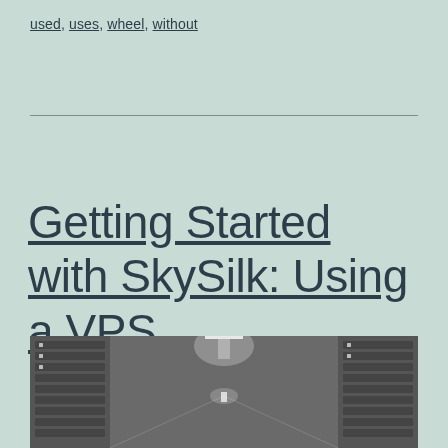used, uses, wheel, without
Getting Started with SkySilk: Using a VPS
[Figure (photo): Server room corridor with rows of server racks on both sides and overhead lighting, shown in grayscale]